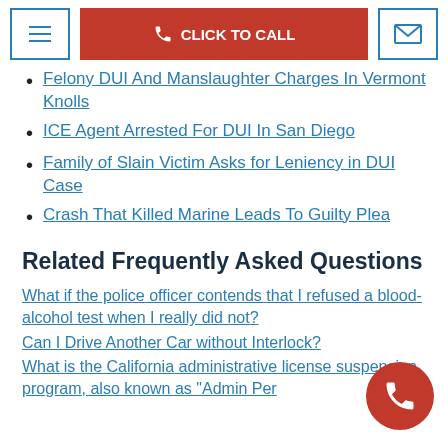CLICK TO CALL
Felony DUI And Manslaughter Charges In Vermont Knolls
ICE Agent Arrested For DUI In San Diego
Family of Slain Victim Asks for Leniency in DUI Case
Crash That Killed Marine Leads To Guilty Plea
Related Frequently Asked Questions
What if the police officer contends that I refused a blood-alcohol test when I really did not?
Can I Drive Another Car without Interlock?
What is the California administrative license suspension program, also known as "Admin Per